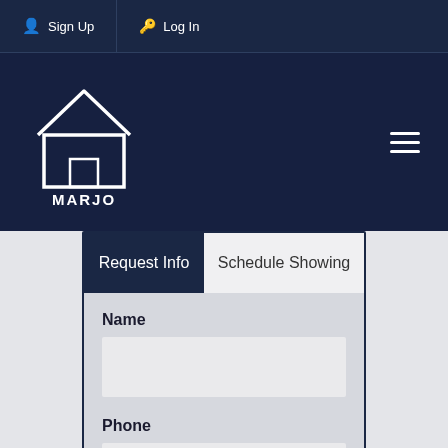Sign Up  Log In
[Figure (logo): Marjo Realty Co. logo — white outline of a house with MARJO REALTY CO. text below, on dark navy background]
Request Info
Schedule Showing
Name
Phone